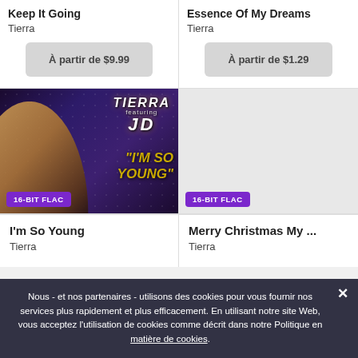Keep It Going
Tierra
À partir de $9.99
Essence Of My Dreams
Tierra
À partir de $1.29
[Figure (photo): Album cover for 'I'm So Young' by Tierra featuring JD. Shows a singer performing with a microphone against a dark purple dotted background. Text shows TIERRA featuring JD and '"I'm So Young"' in gold italic lettering. Purple badge reads '16-BIT FLAC'.]
[Figure (photo): Gray album cover placeholder with purple '16-BIT FLAC' badge at bottom left.]
I'm So Young
Tierra
Merry Christmas My ...
Tierra
Nous - et nos partenaires - utilisons des cookies pour vous fournir nos services plus rapidement et plus efficacement. En utilisant notre site Web, vous acceptez l'utilisation de cookies comme décrit dans notre Politique en matière de cookies.